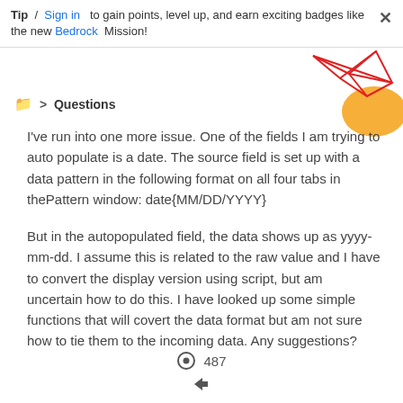Tip / Sign in to gain points, level up, and earn exciting badges like the new Bedrock Mission!
Questions
I've run into one more issue. One of the fields I am trying to auto populate is a date. The source field is set up with a data pattern in the following format on all four tabs in thePattern window: date{MM/DD/YYYY}
But in the autopopulated field, the data shows up as yyyy-mm-dd. I assume this is related to the raw value and I have to convert the display version using script, but am uncertain how to do this. I have looked up some simple functions that will covert the data format but am not sure how to tie them to the incoming data. Any suggestions?
487